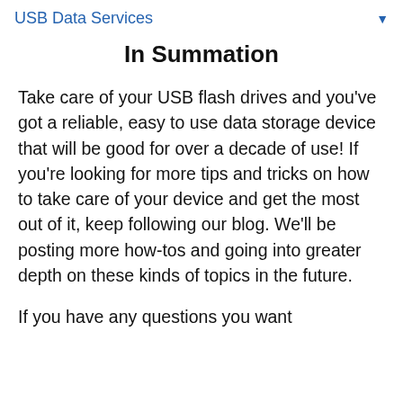USB Data Services
In Summation
Take care of your USB flash drives and you've got a reliable, easy to use data storage device that will be good for over a decade of use! If you're looking for more tips and tricks on how to take care of your device and get the most out of it, keep following our blog. We'll be posting more how-tos and going into greater depth on these kinds of topics in the future.
If you have any questions you want